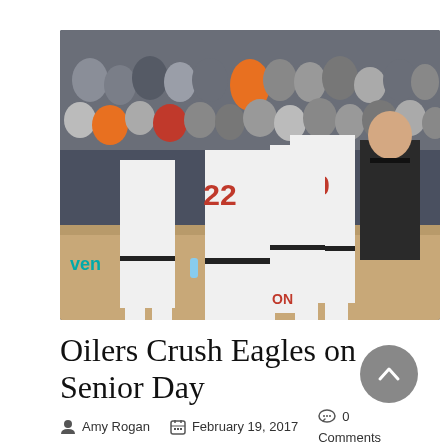[Figure (photo): Basketball players in white uniforms with numbers 22 and 0 huddle together during a game, fans and a coach visible in the background]
Oilers Crush Eagles on Senior Day
Amy Rogan   February 19, 2017   0 Comments